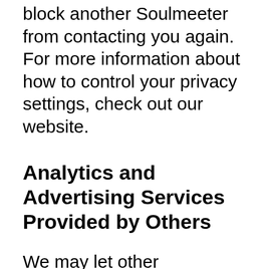block another Soulmeeter from contacting you again. For more information about how to control your privacy settings, check out our website.
Analytics and Advertising Services Provided by Others
We may let other companies use cookies, web beacons, and similar tracking technologies on the services. These companies may collect information about how you use the services and other websites and online services over time and across different services. This information may be used to, among other things,